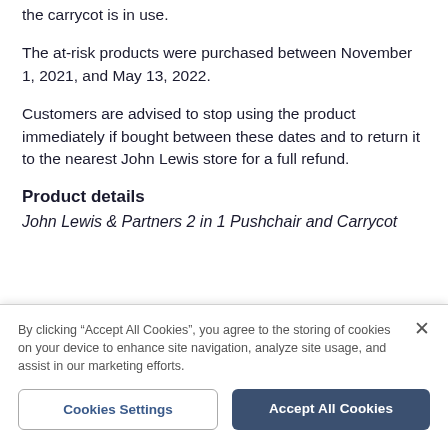the carrycot is in use.
The at-risk products were purchased between November 1, 2021, and May 13, 2022.
Customers are advised to stop using the product immediately if bought between these dates and to return it to the nearest John Lewis store for a full refund.
Product details
John Lewis & Partners 2 in 1 Pushchair and Carrycot
By clicking “Accept All Cookies”, you agree to the storing of cookies on your device to enhance site navigation, analyze site usage, and assist in our marketing efforts.